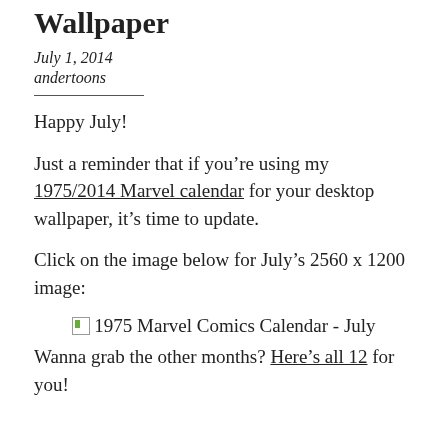Wallpaper
July 1, 2014
andertoons
Happy July!
Just a reminder that if you're using my 1975/2014 Marvel calendar for your desktop wallpaper, it's time to update.
Click on the image below for July's 2560 x 1200 image:
[Figure (photo): Broken image icon placeholder for 1975 Marvel Comics Calendar - July]
Wanna grab the other months? Here's all 12 for you!